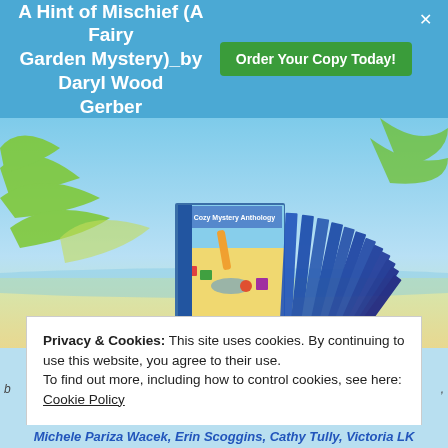A Hint of Mischief (A Fairy Garden Mystery)_by Daryl Wood Gerber   Order Your Copy Today!
[Figure (photo): A cozy mystery anthology book set displayed in a beach scene with palm leaves in the background. Multiple blue-spined books are shown fanned out.]
Mysteries, Midsummer Sun and Murders: A Cozy Mystery Anthology
Privacy & Cookies: This site uses cookies. By continuing to use this website, you agree to their use.
To find out more, including how to control cookies, see here: Cookie Policy
Close and accept
Michele Pariza Wacek, Erin Scoggins, Cathy Tully, Victoria LK